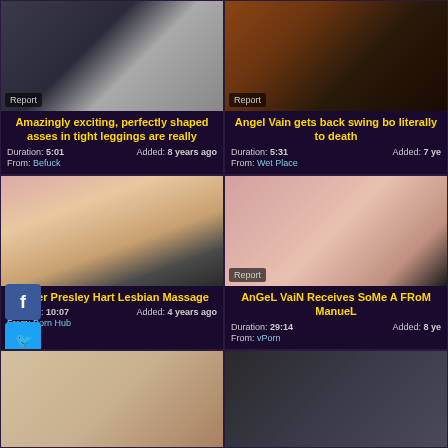[Figure (screenshot): Video thumbnail left top - dark shapes]
Amazingly exciting, perfectly shaped asses in tight leggings are really
Duration: 5:01  Added: 8 years ago  From: Befuck
[Figure (screenshot): Video thumbnail right top - close up]
Angel Vain gets back swing bo literally to death
Duration: 5:31  Added: 7 years ago  From: Wet Place
[Figure (screenshot): Video thumbnail left middle - massage scene with social icons overlay]
leader Presley Hart Lesbian Massage
Duration: 10:07  Added: 4 years ago  From: Porn Hub
[Figure (screenshot): Video thumbnail right middle - close up body]
AnGeL VaiN Receives SoMe A FRoM ManueL
Duration: 29:14  Added: 8 years ago  From: vPorn
[Figure (screenshot): Video thumbnail bottom left partial]
[Figure (screenshot): Video thumbnail bottom right partial]